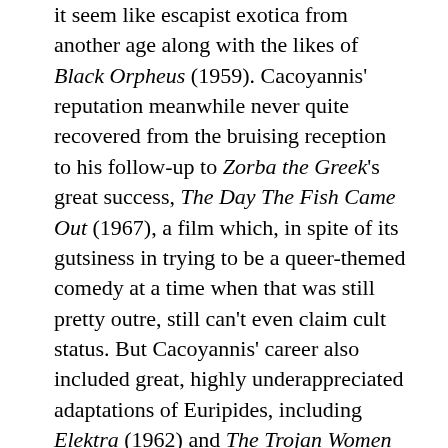it seem like escapist exotica from another age along with the likes of Black Orpheus (1959). Cacoyannis' reputation meanwhile never quite recovered from the bruising reception to his follow-up to Zorba the Greek's great success, The Day The Fish Came Out (1967), a film which, in spite of its gutsiness in trying to be a queer-themed comedy at a time when that was still pretty outre, still can't even claim cult status. But Cacoyannis' career also included great, highly underappreciated adaptations of Euripides, including Elektra (1962) and The Trojan Women (1971), and he reunited with Zorba the Greek star Alan Bates in the early 2000s for a version of Chekhov's The Cherry